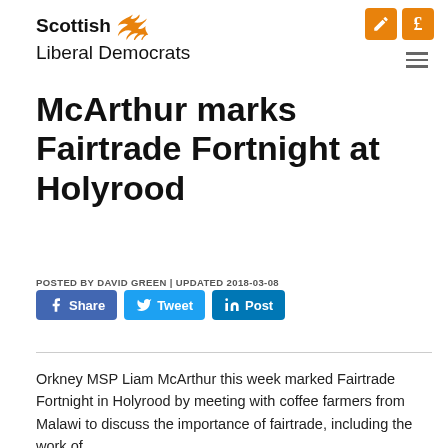[Figure (logo): Scottish Liberal Democrats logo with bird/flame emblem in gold]
McArthur marks Fairtrade Fortnight at Holyrood
POSTED BY DAVID GREEN | UPDATED 2018-03-08
Share  Tweet  Post (social media buttons)
Orkney MSP Liam McArthur this week marked Fairtrade Fortnight in Holyrood by meeting with coffee farmers from Malawi to discuss the importance of fairtrade, including the work of